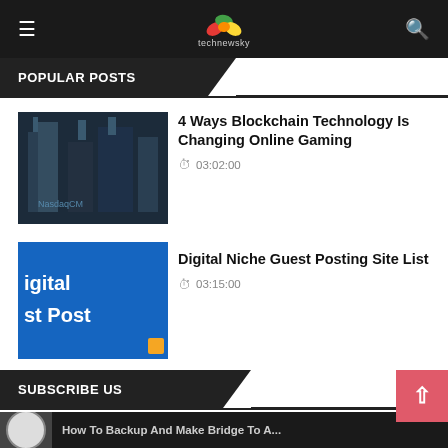technewsky
POPULAR POSTS
4 Ways Blockchain Technology Is Changing Online Gaming
03:02:00
Digital Niche Guest Posting Site List
03:15:00
Why Don't Many Merchants Accept American Express?
03:08:00
SUBSCRIBE US
How To Backup And Make Bridge To A...